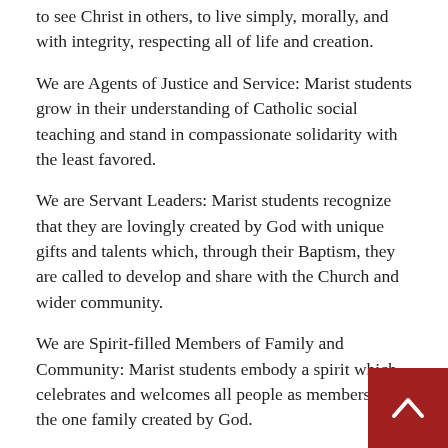to see Christ in others, to live simply, morally, and with integrity, respecting all of life and creation.
We are Agents of Justice and Service: Marist students grow in their understanding of Catholic social teaching and stand in compassionate solidarity with the least favored.
We are Servant Leaders: Marist students recognize that they are lovingly created by God with unique gifts and talents which, through their Baptism, they are called to develop and share with the Church and wider community.
We are Spirit-filled Members of Family and Community: Marist students embody a spirit which celebrates and welcomes all people as members of the one family created by God.
The Marks of a Marist Educator
The Mark of a Marist Educator is that he/she embodies all that it means to be a Marist. We embody faith. Our faith